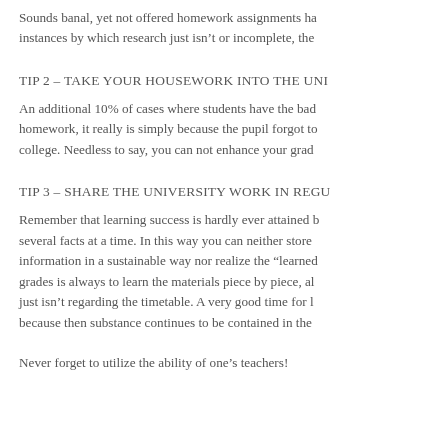Sounds banal, yet not offered homework assignments ha instances by which research just isn't or incomplete, the
TIP 2 – TAKE YOUR HOUSEWORK INTO THE UNI
An additional 10% of cases where students have the bad homework, it really is simply because the pupil forgot to college. Needless to say, you can not enhance your grad
TIP 3 – SHARE THE UNIVERSITY WORK IN REGU
Remember that learning success is hardly ever attained b several facts at a time. In this way you can neither store information in a sustainable way nor realize the “learned grades is always to learn the materials piece by piece, al just isn’t regarding the timetable. A very good time for l because then substance continues to be contained in the
Never forget to utilize the ability of one’s teachers!